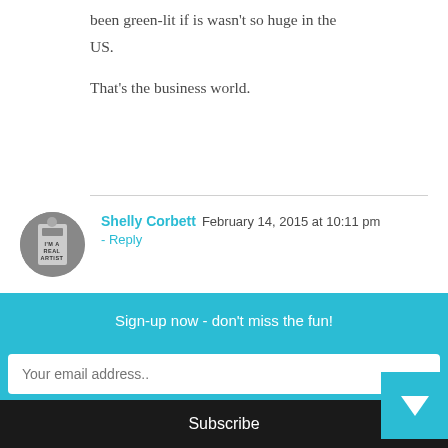been green-lit if is wasn't so huge in the US.
That's the business world.
Shelly Corbett  February 14, 2015 at 10:11 pm - Reply
You're probably right Cole. I'm not a fan of the US pop culture / entertainment conglomerate. I don't partake and I feel bad it is
Sign-up now - don't miss the fun!
Your email address..
Subscribe